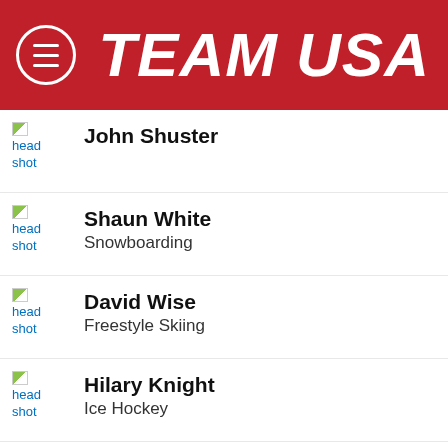TEAM USA
John Shuster
Shaun White
Snowboarding
David Wise
Freestyle Skiing
Hilary Knight
Ice Hockey
Matt Hamilton